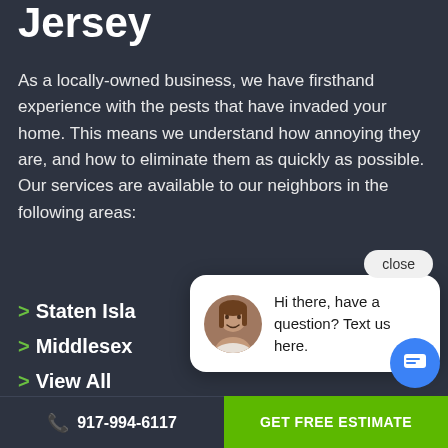Jersey
As a locally-owned business, we have firsthand experience with the pests that have invaded your home. This means we understand how annoying they are, and how to eliminate them as quickly as possible. Our services are available to our neighbors in the following areas:
Staten Island
Middlesex
View All
[Figure (screenshot): Chat popup widget with female avatar and message 'Hi there, have a question? Text us here.' with a close button and blue chat bubble button]
917-994-6117
GET FREE ESTIMATE